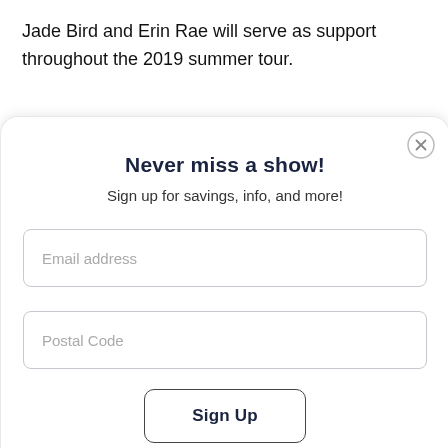Jade Bird and Erin Rae will serve as support throughout the 2019 summer tour.
[Figure (screenshot): Modal dialog with title 'Never miss a show!', subtitle 'Sign up for savings, info, and more!', email address input field, postal code input field, and a Sign Up button. A close (X) button is in the top right corner.]